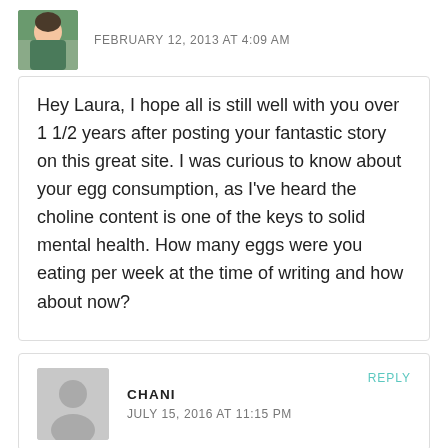FEBRUARY 12, 2013 AT 4:09 AM
Hey Laura, I hope all is still well with you over 1 1/2 years after posting your fantastic story on this great site. I was curious to know about your egg consumption, as I've heard the choline content is one of the keys to solid mental health. How many eggs were you eating per week at the time of writing and how about now?
CHANI
JULY 15, 2016 AT 11:15 PM